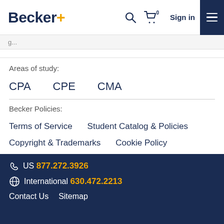Becker+ [navigation bar with search, cart, Sign in, and menu]
Areas of study:
CPA
CPE
CMA
Becker Policies:
Terms of Service
Student Catalog & Policies
Copyright & Trademarks
Cookie Policy
Privacy Policy
Accessibility Statement
US 877.272.3926  International 630.472.2213  Contact Us  Sitemap